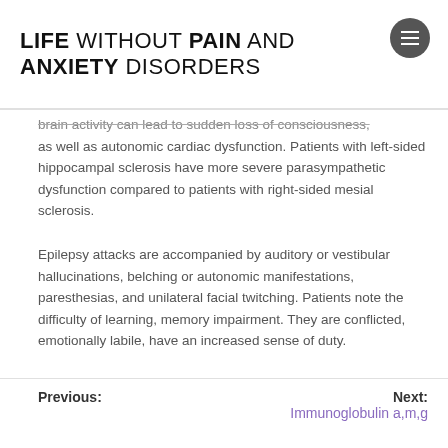LIFE WITHOUT PAIN AND ANXIETY DISORDERS
brain activity can lead to sudden loss of consciousness, as well as autonomic cardiac dysfunction. Patients with left-sided hippocampal sclerosis have more severe parasympathetic dysfunction compared to patients with right-sided mesial sclerosis.
Epilepsy attacks are accompanied by auditory or vestibular hallucinations, belching or autonomic manifestations, paresthesias, and unilateral facial twitching. Patients note the difficulty of learning, memory impairment. They are conflicted, emotionally labile, have an increased sense of duty.
Previous: | Next: Immunoglobulin a,m,g